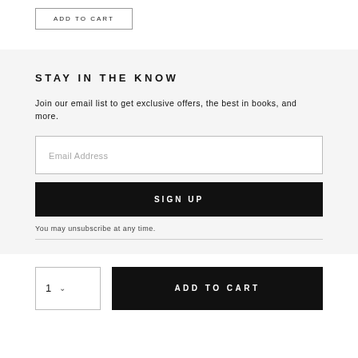ADD TO CART
STAY IN THE KNOW
Join our email list to get exclusive offers, the best in books, and more.
Email Address
SIGN UP
You may unsubscribe at any time.
1  ADD TO CART